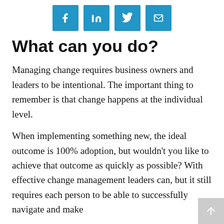[Figure (other): Social media sharing icons row: Facebook, LinkedIn, Twitter, Email — each a blue square icon]
What can you do?
Managing change requires business owners and leaders to be intentional. The important thing to remember is that change happens at the individual level.
When implementing something new, the ideal outcome is 100% adoption, but wouldn't you like to achieve that outcome as quickly as possible? With effective change management leaders can, but it still requires each person to be able to successfully navigate and make the…